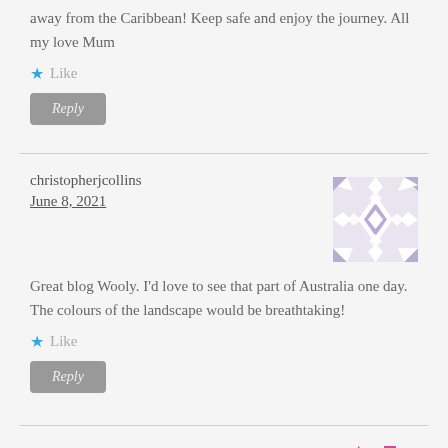away from the Caribbean! Keep safe and enjoy the journey. All my love Mum
Like
Reply
christopherjcollins
June 8, 2021
[Figure (illustration): Geometric avatar with purple/lavender diamond and star pattern on white background]
Great blog Wooly. I'd love to see that part of Australia one day. The colours of the landscape would be breathtaking!
Like
Reply
Plendo
[Figure (logo): Plendo logo icons in pink/magenta]